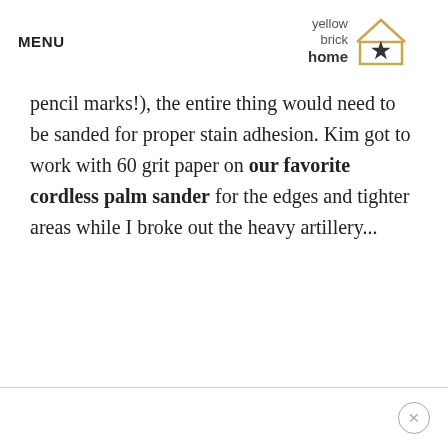MENU
[Figure (logo): Yellow Brick Home logo with house outline and star icon]
pencil marks!), the entire thing would need to be sanded for proper stain adhesion. Kim got to work with 60 grit paper on our favorite cordless palm sander for the edges and tighter areas while I broke out the heavy artillery...